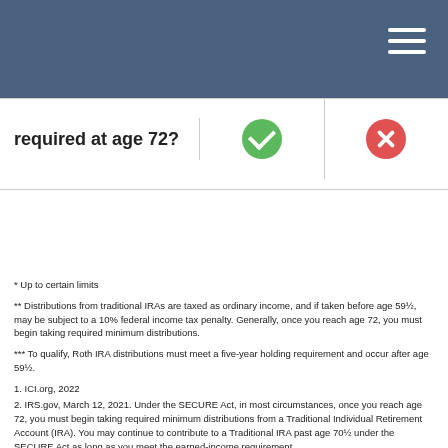|  | ✓ | ✗ |
| --- | --- | --- |
| required at age 72? | ✓ | ✗ |
* Up to certain limits
** Distributions from traditional IRAs are taxed as ordinary income, and if taken before age 59½, may be subject to a 10% federal income tax penalty. Generally, once you reach age 72, you must begin taking required minimum distributions.
*** To qualify, Roth IRA distributions must meet a five-year holding requirement and occur after age 59½.
1. ICI.org, 2022
2. IRS.gov, March 12, 2021. Under the SECURE Act, in most circumstances, once you reach age 72, you must begin taking required minimum distributions from a Traditional Individual Retirement Account (IRA). You may continue to contribute to a Traditional IRA past age 70½ under the SECURE Act as long as you meet the earned-income requirement.
3. Up to certain limits, traditional IRAs allow individuals to make tax-deductible contributions into their account(s). Distributions from traditional IRAs are taxed as ordinary income, and if taken before age 59½, may be subject to a 10% federal income tax penalty. Generally, once you reach age 72, you must begin taking required